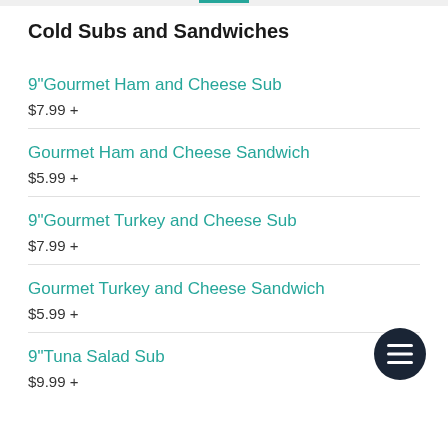Cold Subs and Sandwiches
9"Gourmet Ham and Cheese Sub
$7.99 +
Gourmet Ham and Cheese Sandwich
$5.99 +
9"Gourmet Turkey and Cheese Sub
$7.99 +
Gourmet Turkey and Cheese Sandwich
$5.99 +
9"Tuna Salad Sub
$9.99 +